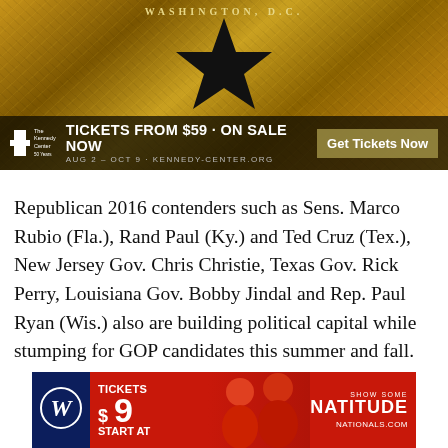[Figure (advertisement): Hamilton musical advertisement for Kennedy Center Washington D.C. Gold textured background with black star. Text: WASHINGTON, D.C. TICKETS FROM $59 · ON SALE NOW AUG 2 – OCT 9 · KENNEDY-CENTER.ORG. Button: Get Tickets Now]
Republican 2016 contenders such as Sens. Marco Rubio (Fla.), Rand Paul (Ky.) and Ted Cruz (Tex.), New Jersey Gov. Chris Christie, Texas Gov. Rick Perry, Louisiana Gov. Bobby Jindal and Rep. Paul Ryan (Wis.) also are building political capital while stumping for GOP candidates this summer and fall.
[Figure (advertisement): Washington Nationals advertisement. Red background with Nationals logo W. Text: TICKETS $9 START AT. SHOW SOME NATITUDE. NATIONALS.COM. Photos of smiling fans in red shirts.]